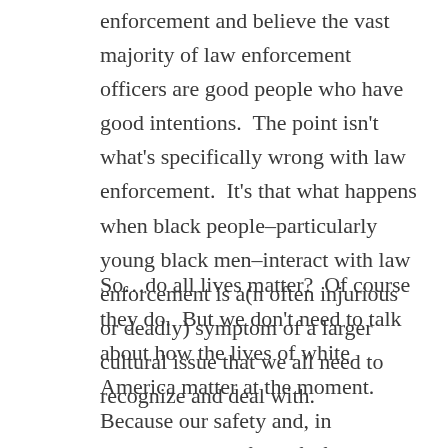enforcement and believe the vast majority of law enforcement officers are good people who have good intentions.  The point isn't what's specifically wrong with law enforcement.  It's that what happens when black people–particularly young black men–interact with law enforcement is a(n often injurious or deadly) symptom of a larger cultural issue that we all need to recognize and deal with.
So…do all lives matter?  Of course they do.  But we don't need to talk about how the lives of white America matter at the moment.  Because our safety and, in particular, the safety of of our sons isn't threatened in the way that these young mens' safety is threatened on a daily basis.  So right now we all need to shine a bright light on how Black Lives ALSO Matter.  That all of our kids…especially our kids—